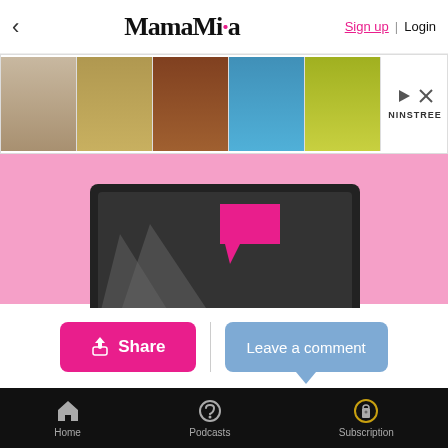MamaMia — Sign up | Login
[Figure (screenshot): Mamamia website screenshot with pink background, laptop illustration, and a shoe advertisement banner overlay]
Share
Leave a comment
By MAMAMIA TEAM
Kate Bosworth has married writer-director Michael Polish after a year-long engagement.
Home | Podcasts | Subscription